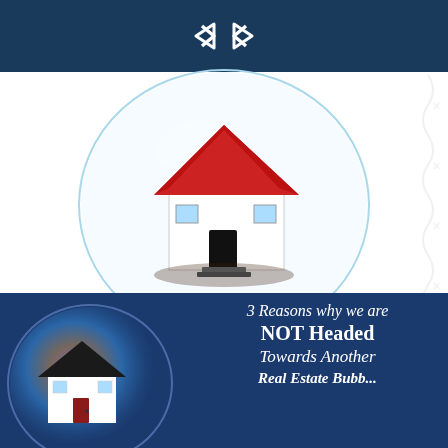[Figure (illustration): A 3D illustration of a toy house with a red roof inside a transparent soap bubble, on a white background]
View this email in your browser
[Figure (infographic): A share button icon — dark square with an upward arrow and honeycomb pattern background with SHARE label]
[Figure (illustration): Dark blue banner showing a small white house inside a colorful bubble on the left, with text on the right reading '3 Reasons why we are NOT Headed Towards Another Real Estate Bubble']
3 Reasons why we are NOT Headed Towards Another Real Estate Bubble